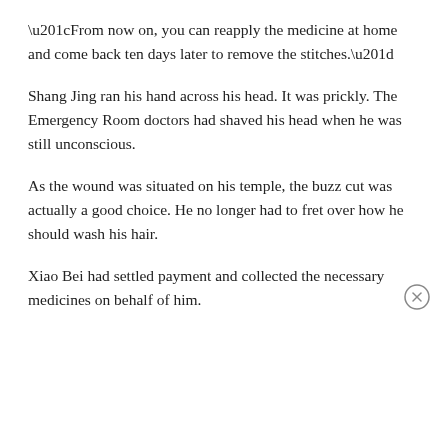“From now on, you can reapply the medicine at home and come back ten days later to remove the stitches.”
Shang Jing ran his hand across his head. It was prickly. The Emergency Room doctors had shaved his head when he was still unconscious.
As the wound was situated on his temple, the buzz cut was actually a good choice. He no longer had to fret over how he should wash his hair.
Xiao Bei had settled payment and collected the necessary medicines on behalf of him.